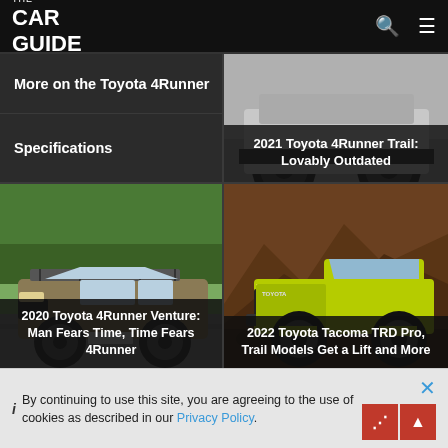THE CAR GUIDE
More on the Toyota 4Runner
[Figure (photo): Partial rear/side view of a grey Toyota 4Runner, showing wheels and lower body]
Specifications
2021 Toyota 4Runner Trail: Lovably Outdated
[Figure (photo): Toyota 4Runner Venture in sandy/olive color parked on gravel road with green foliage background]
2020 Toyota 4Runner Venture: Man Fears Time, Time Fears 4Runner
[Figure (photo): Lime green Toyota Tacoma TRD Pro on rocky mountainous terrain]
2022 Toyota Tacoma TRD Pro, Trail Models Get a Lift and More
i By continuing to use this site, you are agreeing to the use of cookies as described in our Privacy Policy.